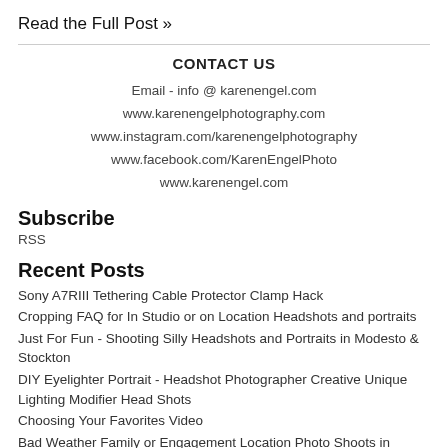Read the Full Post »
CONTACT US
Email - info @ karenengel.com
www.karenengelphotography.com
www.instagram.com/karenengelphotography
www.facebook.com/KarenEngelPhoto
www.karenengel.com
Subscribe
RSS
Recent Posts
Sony A7RIII Tethering Cable Protector Clamp Hack
Cropping FAQ for In Studio or on Location Headshots and portraits
Just For Fun - Shooting Silly Headshots and Portraits in Modesto & Stockton
DIY Eyelighter Portrait - Headshot Photographer Creative Unique Lighting Modifier Head Shots
Choosing Your Favorites Video
Bad Weather Family or Engagement Location Photo Shoots in